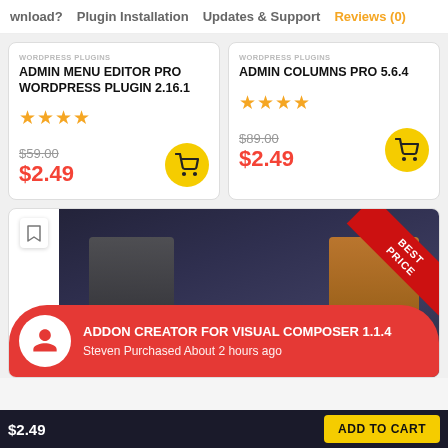wnload?  Plugin Installation  Updates & Support  Reviews (0)
WORDPRESS PLUGINS  WORDPRESS PLUGINS
ADMIN MENU EDITOR PRO WORDPRESS PLUGIN 2.16.1
★★★★½  $59.00  $2.49
ADMIN COLUMNS PRO 5.6.4
★★★★½  $89.00  $2.49
[Figure (screenshot): Product image with BEST PRICE ribbon banner overlay, showing dark themed plugin product image]
ADDON CREATOR FOR VISUAL COMPOSER 1.1.4
Steven Purchased About 2 hours ago
$2.49  ADD TO CART